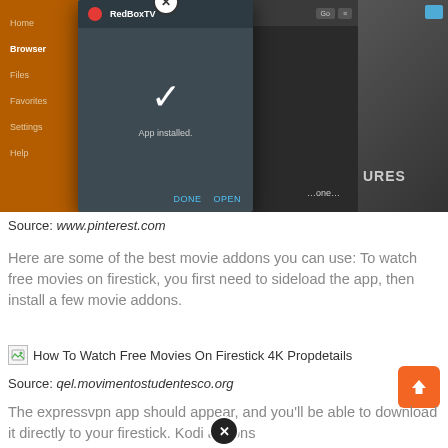[Figure (screenshot): Screenshot of a mobile app installation dialog (RedBoxTV) showing 'App installed.' message with a checkmark, over a file browser interface with orange sidebar]
Source: www.pinterest.com
Here are some of the best movie addons you can use: To watch free movies on firestick, you first need to sideload the app, then install a few movie addons.
[Figure (screenshot): Broken image placeholder with alt text: How To Watch Free Movies On Firestick 4K Propdetails]
Source: qel.movimentostudentesco.org
The expressvpn app should appear, and you'll be able to download it directly to your firestick. Kodi addons